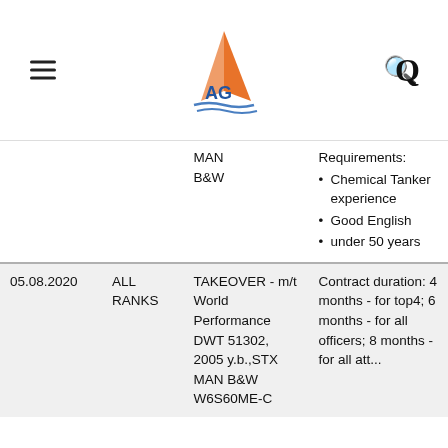[Figure (logo): AG sailing logo with orange sail and blue AG text, hamburger menu icon on left, search icon on right]
| Date | Rank | Vessel | Requirements |
| --- | --- | --- | --- |
|  |  | MAN B&W | Requirements:
• Chemical Tanker experience
• Good English
• under 50 years |
| 05.08.2020 | ALL RANKS | TAKEOVER - m/t World Performance DWT 51302, 2005 y.b.,STX MAN B&W W6S60ME-C | Contract duration: 4 months - for top4; 6 months - for all officers; 8 months - for all att... |